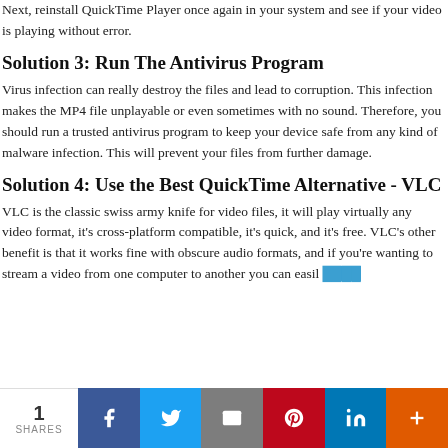Next, reinstall QuickTime Player once again in your system and see if your video is playing without error.
Solution 3: Run The Antivirus Program
Virus infection can really destroy the files and lead to corruption. This infection makes the MP4 file unplayable or even sometimes with no sound. Therefore, you should run a trusted antivirus program to keep your device safe from any kind of malware infection. This will prevent your files from further damage.
Solution 4: Use the Best QuickTime Alternative - VLC
VLC is the classic swiss army knife for video files, it will play virtually any video format, it's cross-platform compatible, it's quick, and it's free. VLC's other benefit is that it works fine with obscure audio formats, and if you're wanting to stream a video from one computer to another you can easil
1 SHARES  Facebook  Twitter  Email  Pinterest  LinkedIn  More